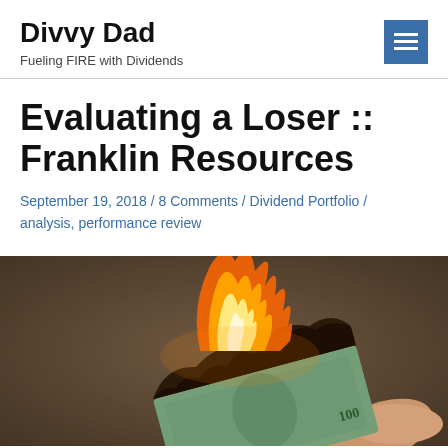Divvy Dad
Fueling FIRE with Dividends
Evaluating a Loser :: Franklin Resources
September 19, 2018 / 8 Comments / Dividend Portfolio / analysis, performance review
[Figure (photo): A hand holding a burning $100 bill with orange flames against a dark blurred background]